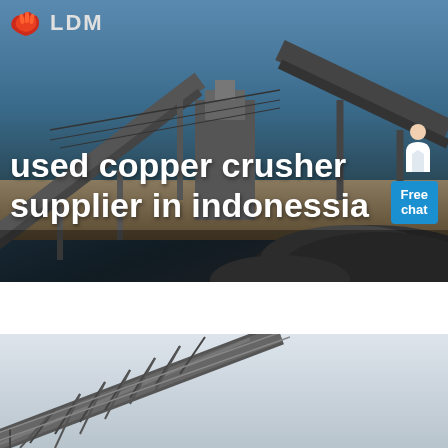[Figure (photo): Industrial mining conveyor belt and crusher machinery at an outdoor facility, with large piles of crushed rock/ore. Blue sky background. LDM logo in top-left corner with a stylized hand icon in red/orange.]
used copper crusher supplier in indonessia
[Figure (photo): Close-up of an industrial conveyor belt structure extending diagonally, against a light grey/white sky.]